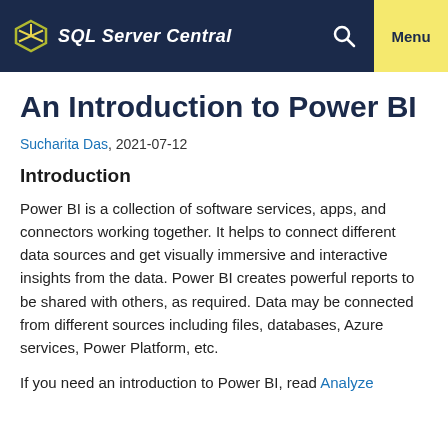SQL Server Central  Menu
An Introduction to Power BI
Sucharita Das, 2021-07-12
Introduction
Power BI is a collection of software services, apps, and connectors working together. It helps to connect different data sources and get visually immersive and interactive insights from the data. Power BI creates powerful reports to be shared with others, as required. Data may be connected from different sources including files, databases, Azure services, Power Platform, etc.
If you need an introduction to Power BI, read Analyze